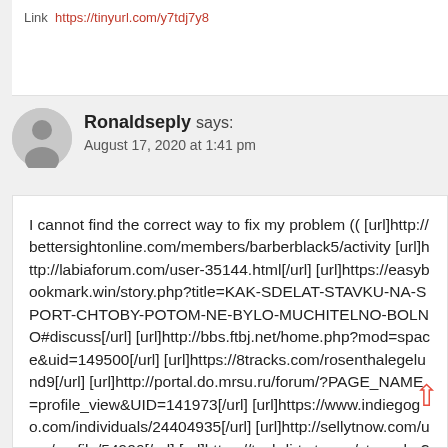Link: https://tinyurl.com/y7tdj7y8
Ronaldseply says:
August 17, 2020 at 1:41 pm
I cannot find the correct way to fix my problem (( [url]http://bettersightonline.com/members/barberblack5/activity [url]http://labiaforum.com/user-35144.html[/url] [url]https://easybookmark.win/story.php?title=KAK-SDELAT-STAVKU-NA-SPORT-CHTOBY-POTOM-NE-BYLO-MUCHITELNO-BOLNO#discuss[/url] [url]http://bbs.ftbj.net/home.php?mod=space&uid=149500[/url] [url]https://8tracks.com/rosenthalegelund9[/url] [url]http://portal.do.mrsu.ru/forum/?PAGE_NAME=profile_view&UID=141973[/url] [url]https://www.indiegogo.com/individuals/24404935[/url] [url]http://sellytnow.com/user/profile/54906[/url] [url]https://techdirt.stream/story.php?title=%EF%BB%BFKAK-VMYRAT-NAREZHINSRO-BUKMEKERA#discuss[/url]